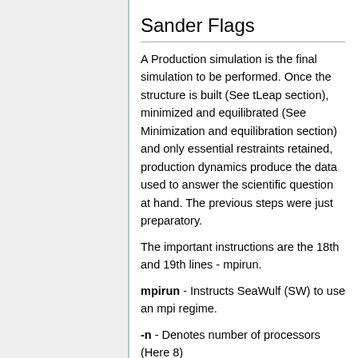Sander Flags
A Production simulation is the final simulation to be performed. Once the structure is built (See tLeap section), minimized and equilibrated (See Minimization and equilibration section) and only essential restraints retained, production dynamics produce the data used to answer the scientific question at hand. The previous steps were just preparatory.
The important instructions are the 18th and 19th lines - mpirun.
mpirun - Instructs SeaWulf (SW) to use an mpi regime.
-n - Denotes number of processors (Here 8)